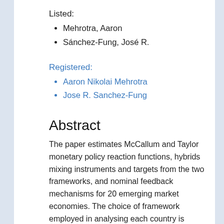Listed:
Mehrotra, Aaron
Sánchez-Fung, José R.
Registered:
Aaron Nikolai Mehrotra
Jose R. Sanchez-Fung
Abstract
The paper estimates McCallum and Taylor monetary policy reaction functions, hybrids mixing instruments and targets from the two frameworks, and nominal feedback mechanisms for 20 emerging market economies. The choice of framework employed in analysing each country is informed by the corresponding institutional setting. McCallum-Taylor specifications with an interest rate